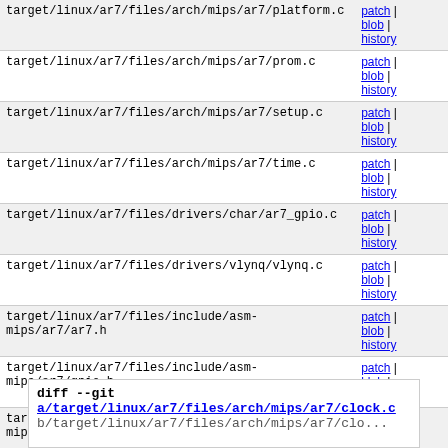| filepath | links |
| --- | --- |
| target/linux/ar7/files/arch/mips/ar7/platform.c | patch | blob | history |
| target/linux/ar7/files/arch/mips/ar7/prom.c | patch | blob | history |
| target/linux/ar7/files/arch/mips/ar7/setup.c | patch | blob | history |
| target/linux/ar7/files/arch/mips/ar7/time.c | patch | blob | history |
| target/linux/ar7/files/drivers/char/ar7_gpio.c | patch | blob | history |
| target/linux/ar7/files/drivers/vlynq/vlynq.c | patch | blob | history |
| target/linux/ar7/files/include/asm-mips/ar7/ar7.h | patch | blob | history |
| target/linux/ar7/files/include/asm-mips/ar7/gpio.h | patch | blob | history |
| target/linux/ar7/files/include/asm-mips/ar7/prom.h | patch | blob | history |
| target/linux/ar7/files/include/linux/vlynq.h | patch | blob | history |
diff --git a/target/linux/ar7/files/arch/mips/ar7/clock.c b/target/linux/ar7/files/arch/mips/ar7/clock.c